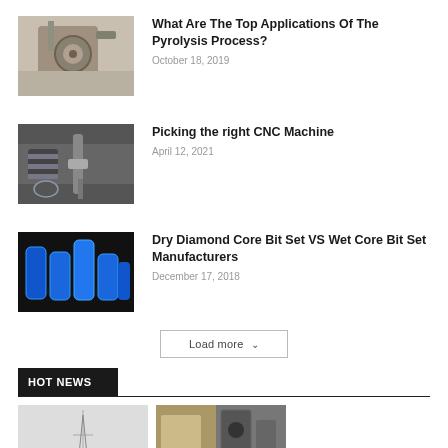[Figure (photo): CNC milling machine cutting metal part]
What Are The Top Applications Of The Pyrolysis Process?
October 18, 2019
[Figure (photo): CNC machine with rotating tool and gloves]
Picking the right CNC Machine
April 12, 2021
[Figure (photo): Blue diamond core drill bit set]
Dry Diamond Core Bit Set VS Wet Core Bit Set Manufacturers
December 17, 2018
Load more
HOT NEWS
[Figure (photo): Engineering/industrial images at bottom]
[Figure (photo): Industrial machinery photo]